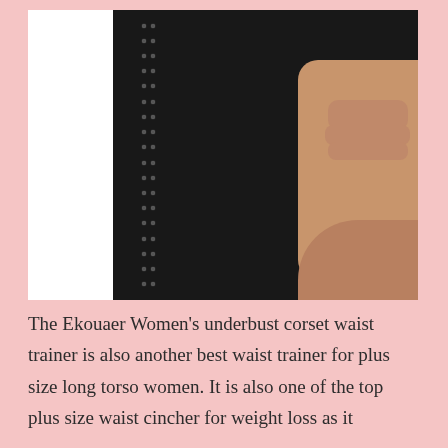[Figure (photo): Close-up photo of a woman wearing a black Ekouaer underbust corset waist trainer. The image shows the torso and side profile, with a hand pressing against the black garment. The corset features visible hook-and-eye closures running vertically down the side.]
The Ekouaer Women's underbust corset waist trainer is also another best waist trainer for plus size long torso women. It is also one of the top plus size waist cincher for weight loss as it